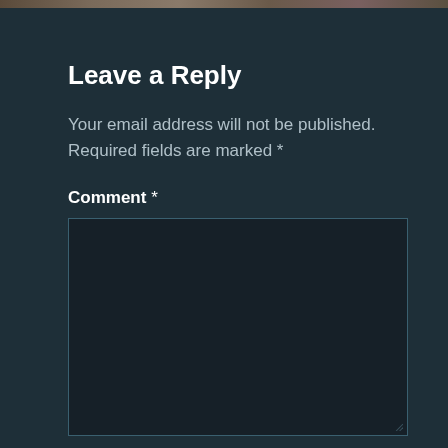[Figure (photo): Partial image strip at the top of the page showing a nature/outdoor scene]
Leave a Reply
Your email address will not be published. Required fields are marked *
Comment *
[Figure (other): Empty comment text area input box with dark background and teal border]